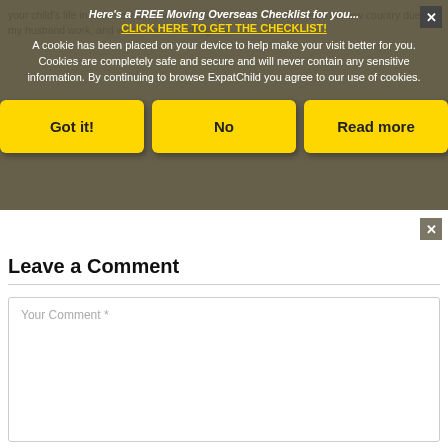your child's life in their new environment. We just recently relocated to a new country due to my husband work, and we're ... daughter ... for her.
[Figure (screenshot): Cookie consent overlay with dark olive/brown background. Contains header text 'Here's a FREE Moving Overseas Checklist for you...' in italic, a yellow link 'CLICK HERE TO GET THE CHECKLIST!', cookie consent message text, and three yellow buttons labeled 'Got it!', 'No', and 'Read more'. A close X button appears top-right.]
Leave a Comment
Your Comment *